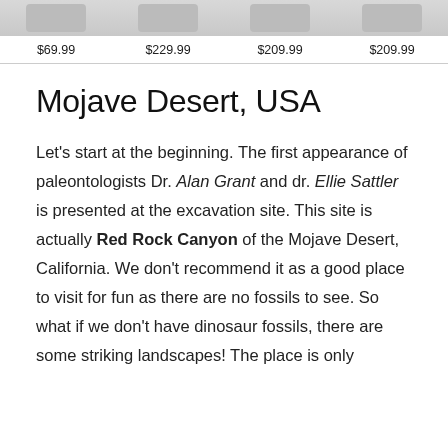[Figure (other): Product image row showing four items partially visible at top of page with prices $69.99, $229.99, $209.99, $209.99]
Mojave Desert, USA
Let's start at the beginning. The first appearance of paleontologists Dr. Alan Grant and dr. Ellie Sattler is presented at the excavation site. This site is actually Red Rock Canyon of the Mojave Desert, California. We don't recommend it as a good place to visit for fun as there are no fossils to see. So what if we don't have dinosaur fossils, there are some striking landscapes! The place is only